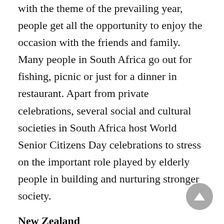with the theme of the prevailing year, people get all the opportunity to enjoy the occasion with the friends and family. Many people in South Africa go out for fishing, picnic or just for a dinner in restaurant. Apart from private celebrations, several social and cultural societies in South Africa host World Senior Citizens Day celebrations to stress on the important role played by elderly people in building and nurturing stronger society.
New Zealand
New Zealand, the beautiful island country celebrates World Senior Citizens Day with much charm and enthusiasm. Just as in several countries around the world people of New Zealand celebrate the occasion by paying tribute to senior citizens and honouring their contributions to the society.